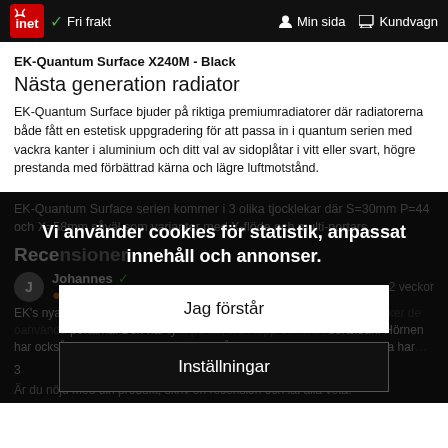inet  Fri frakt  Min sida  Kundvagn
EK-Quantum Surface X240M - Black
Nästa generation radiator
EK-Quantum Surface bjuder på riktiga premiumradiatorer där radiatorerna både fått en estetisk uppgradering för att passa in i quantum serien med vackra kanter i aluminium och ditt val av sidoplåtar i vitt eller svart, högre prestanda med förbättrad kärna och lägre luftmotstånd.
EK-Quantum Surface serien kommer i 3 olika tjocklekar där S=30mm P=44 och X=58mm såväl som varianter med X-flöde och multi-portars.
Rece…
Johannes  2 veckor
EK's nya element har… aluminiumböljer ru… portarna. Den har fy… har också blivit avfasade. Prestandan på smala och mediumvarianterna har…
Vi använder cookies för statistik, anpassat innehåll och annonser.
Jag förstår
Inställningar
Är du nöjd med din produkt, skriv en recension och låt alla veta!